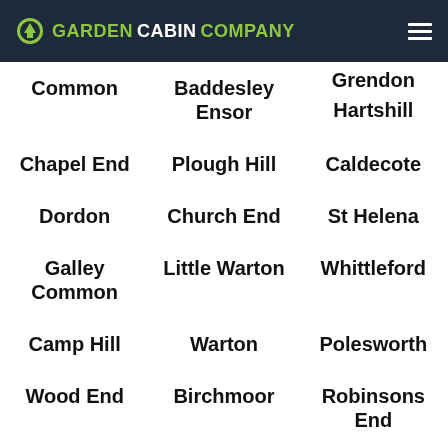GARDEN CABIN COMPANY
Common
Baddesley Ensor
Grendon
Hartshill
Chapel End
Plough Hill
Caldecote
Dordon
Church End
St Helena
Galley Common
Little Warton
Whittleford
Camp Hill
Warton
Polesworth
Wood End
Birchmoor
Robinsons End
Hurley Common
Stockingford
Hurley
Freasley
Ballards Green